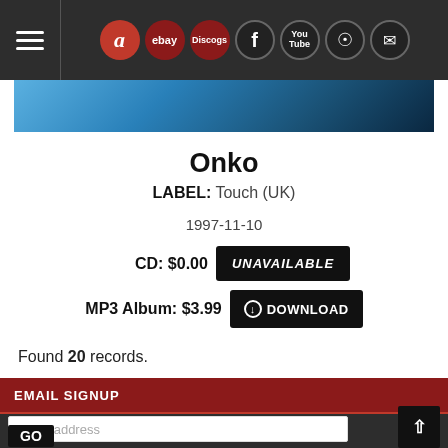Navigation bar with hamburger menu, Amazon, eBay, Discogs, Facebook, YouTube, Instagram, and mail icons
[Figure (photo): Partial blue-toned image strip at top of content area]
Onko
LABEL: Touch (UK)
1997-11-10
CD: $0.00  UNAVAILABLE
MP3 Album: $3.99  ⊙ DOWNLOAD
Found 20 records.
EMAIL SIGNUP
email address